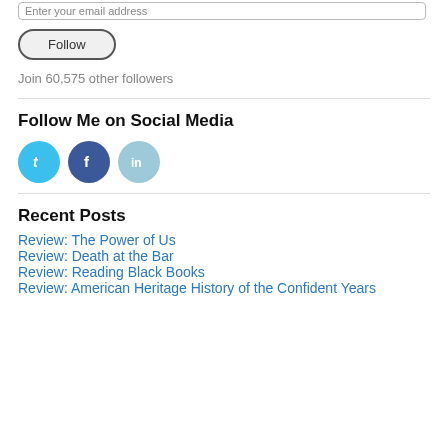Enter your email address
Follow
Join 60,575 other followers
Follow Me on Social Media
[Figure (illustration): Three social media icons: Twitter (blue circle with bird/t), Facebook (dark blue circle with f), LinkedIn (light blue circle with in)]
Recent Posts
Review: The Power of Us
Review: Death at the Bar
Review: Reading Black Books
Review: American Heritage History of the Confident Years